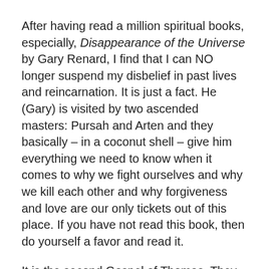After having read a million spiritual books, especially, Disappearance of the Universe by Gary Renard, I find that I can NO longer suspend my disbelief in past lives and reincarnation. It is just a fact. He (Gary) is visited by two ascended masters: Pursah and Arten and they basically – in a coconut shell – give him everything we need to know when it comes to why we fight ourselves and why we kill each other and why forgiveness and love are our only tickets out of this place. If you have not read this book, then do yourself a favor and read it.
It is the second Gospel of Thomas. They buried the first. They buried the first out of fear (Nag Hammadi). The second one is here because the truth can NO longer be buried.
Thank you, Gary, for meditating and being vigilant for God